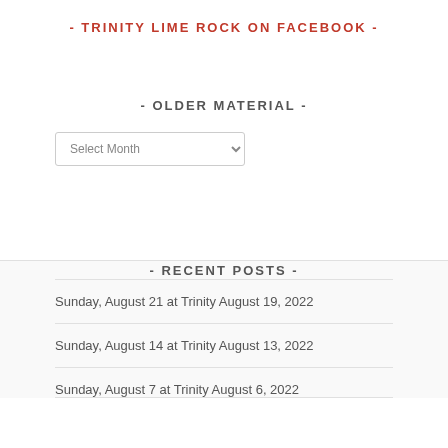- TRINITY LIME ROCK ON FACEBOOK -
- OLDER MATERIAL -
Select Month
- RECENT POSTS -
Sunday, August 21 at Trinity August 19, 2022
Sunday, August 14 at Trinity August 13, 2022
Sunday, August 7 at Trinity August 6, 2022